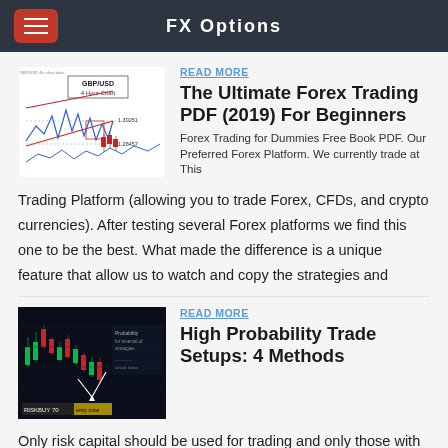FX Options
[Figure (continuous-plot): GBP/USD 4 Hour Chart showing price action with triangle/wedge pattern, red triangle lines, blue wave lines, price levels 1.30251 and 1.28457]
READ MORE
The Ultimate Forex Trading PDF (2019) For Beginners
Forex Trading for Dummies Free Book PDF. Our Preferred Forex Platform. We currently trade at This Trading Platform (allowing you to trade Forex, CFDs, and crypto currencies). After testing several Forex platforms we find this one to be the best. What made the difference is a unique feature that allow us to watch and copy the strategies and
[Figure (screenshot): Dark background forex trading chart with candlesticks showing red and green candles, text overlay on right side, RISKBUY 70 label at bottom left, yellow highlighted area at bottom]
READ MORE
High Probability Trade Setups: 4 Methods
Only risk capital should be used for trading and only those with